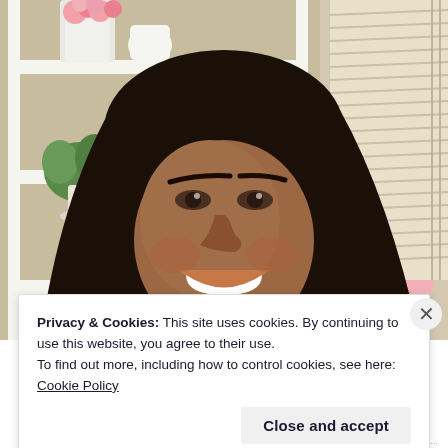[Figure (photo): A smiling woman with long dark hair against a background with white shelving unit holding pink roses, a small green plant, and white vases. A window with blinds is visible on the right side.]
Privacy & Cookies: This site uses cookies. By continuing to use this website, you agree to their use.
To find out more, including how to control cookies, see here: Cookie Policy
Close and accept